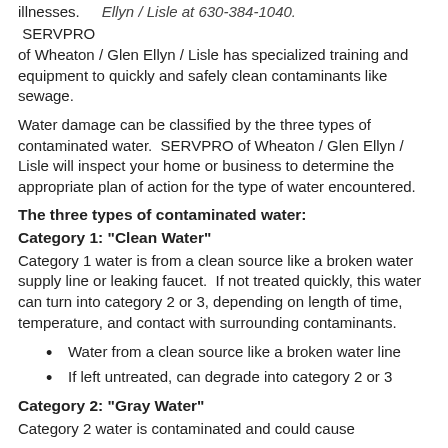illnesses.    Ellyn / Lisle at 630-384-1040.
SERVPRO of Wheaton / Glen Ellyn / Lisle has specialized training and equipment to quickly and safely clean contaminants like sewage.
Water damage can be classified by the three types of contaminated water.  SERVPRO of Wheaton / Glen Ellyn / Lisle will inspect your home or business to determine the appropriate plan of action for the type of water encountered.
The three types of contaminated water:
Category 1: "Clean Water"
Category 1 water is from a clean source like a broken water supply line or leaking faucet.  If not treated quickly, this water can turn into category 2 or 3, depending on length of time, temperature, and contact with surrounding contaminants.
Water from a clean source like a broken water line
If left untreated, can degrade into category 2 or 3
Category 2: "Gray Water"
Category 2 water is contaminated and could cause